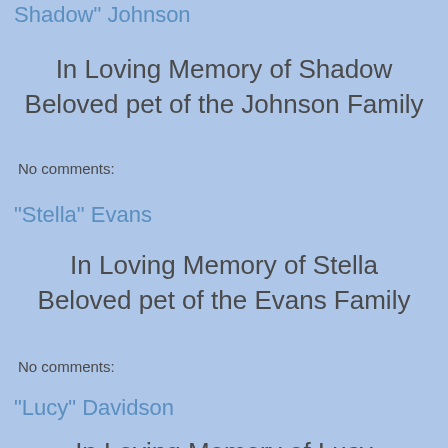Shadow" Johnson
In Loving Memory of Shadow
Beloved pet of the Johnson Family
No comments:
"Stella" Evans
In Loving Memory of Stella
Beloved pet of the Evans Family
No comments:
"Lucy" Davidson
In Loving Memory of Lucy